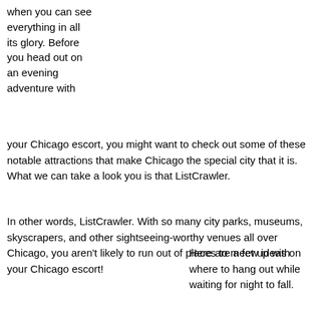when you can see everything in all its glory. Before you head out on an evening adventure with your Chicago escort, you might want to check out some of these notable attractions that make Chicago the special city that it is. What we can take a look you is that ListCrawler.
In other words, ListCrawler. With so many city parks, museums, skyscrapers, and other sightseeing-worthy venues all over Chicago, you aren't likely to run out of places to meet up with your Chicago escort!
Here are a few ideas on where to hang out while waiting for night to fall.